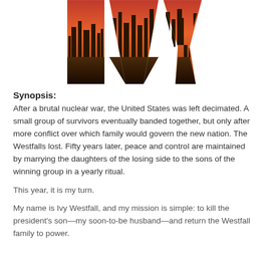[Figure (illustration): Book cover image showing the letters I, V, Y formed by cityscape silhouettes against an orange/red dramatic sky, appearing to spell IVY]
Synopsis:
After a brutal nuclear war, the United States was left decimated. A small group of survivors eventually banded together, but only after more conflict over which family would govern the new nation. The Westfalls lost. Fifty years later, peace and control are maintained by marrying the daughters of the losing side to the sons of the winning group in a yearly ritual.
This year, it is my turn.
My name is Ivy Westfall, and my mission is simple: to kill the president's son—my soon-to-be husband—and return the Westfall family to power.